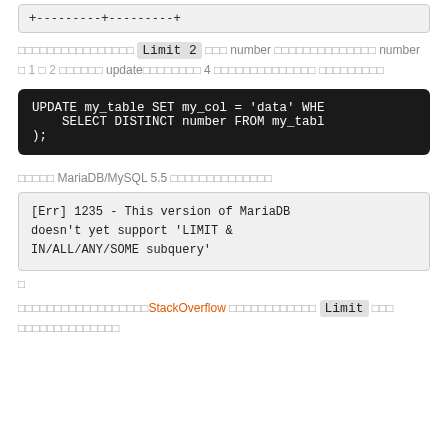+---------+---------+
เลือกแค่ Limit 2 และ number ที่ถูกเลือกคือ number ที่ 1 และ 2 จากนั้น updateค่าแค่ 4 แถวที่เหลือนั้น ไม่ถูกอัพเดท
UPDATE my_table SET my_col = 'data' WHERE number NOT IN ( SELECT DISTINCT number FROM my_table LIMIT 2 );
ใช้ใน MariaDB/MySQL 5.5 จะเกิดข้อผิดพลาด
[Err] 1235 - This version of MariaDB doesn't yet support 'LIMIT & IN/ALL/ANY/SOME subquery'
ถ้า
หาคำตอบจากเวปไซด์StackOverflow พบว่าวิธีการใช้ Limit และ